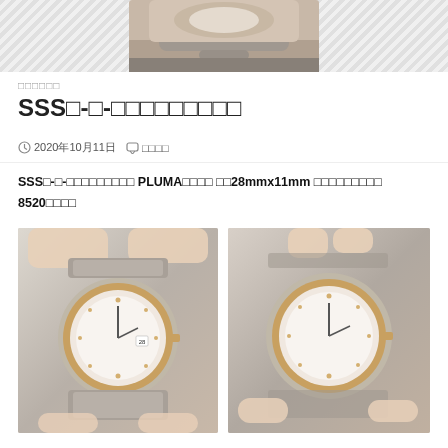[Figure (photo): Top portion showing a luxury watch with rose gold and steel bracelet held in hand, with diagonal stripe background]
□□□□□□
SSS□-□-□□□□□□□□□
2020年10月11日  □□□□
SSS□-□-□□□□□□□□□ PLUMA□□□□ □□28mmx11mm □□□□□□□□□ 8520□□□□
[Figure (photo): Two photos of a luxury Omega Constellation watch with rose gold diamond bezel and two-tone bracelet, held in hand]
[Figure (photo): Second angle of the same Omega Constellation watch showing dial with diamond hour markers]